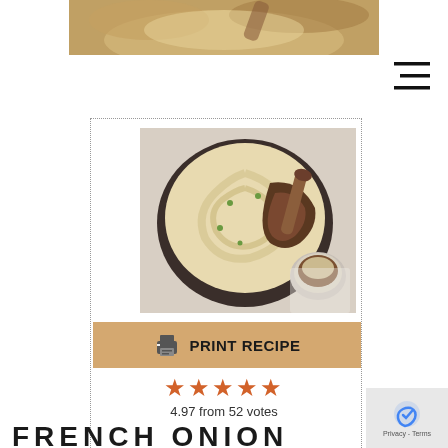[Figure (photo): Cropped top portion of a food dish photo showing shepherd's pie]
[Figure (photo): Overhead view of French Onion Shepherd's Pie in a cast iron skillet with creamy cauliflower topping, wooden spoon, and a small bowl of the dish on the side]
PRINT RECIPE
4.97 from 52 votes
FRENCH ONION SHEPHERD'S PIE WITH LENTILS AND CREAMY CAULIFLOWER